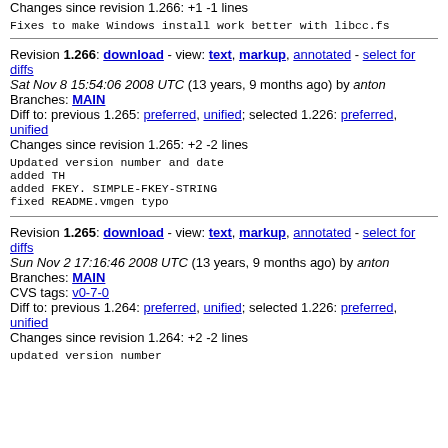Changes since revision 1.266: +1 -1 lines
Fixes to make Windows install work better with libcc.fs
Revision 1.266: download - view: text, markup, annotated - select for diffs
Sat Nov 8 15:54:06 2008 UTC (13 years, 9 months ago) by anton
Branches: MAIN
Diff to: previous 1.265: preferred, unified; selected 1.226: preferred, unified
Changes since revision 1.265: +2 -2 lines
Updated version number and date
added TH
added FKEY. SIMPLE-FKEY-STRING
fixed README.vmgen typo
Revision 1.265: download - view: text, markup, annotated - select for diffs
Sun Nov 2 17:16:46 2008 UTC (13 years, 9 months ago) by anton
Branches: MAIN
CVS tags: v0-7-0
Diff to: previous 1.264: preferred, unified; selected 1.226: preferred, unified
Changes since revision 1.264: +2 -2 lines
updated version number